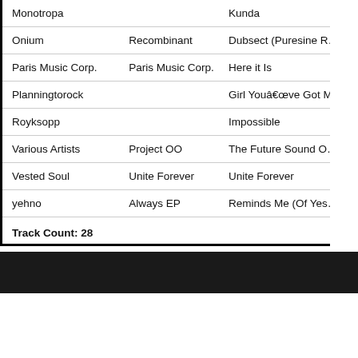| Artist | Album | Track |
| --- | --- | --- |
| Monotropa |  | Kunda |
| Onium | Recombinant | Dubsect (Puresine R… |
| Paris Music Corp. | Paris Music Corp. | Here it Is |
| Planningtorock |  | Girl Youâve Got M… |
| Royksopp |  | Impossible |
| Various Artists | Project OO | The Future Sound O… |
| Vested Soul | Unite Forever | Unite Forever |
| yehno | Always EP | Reminds Me (Of Yes… |
Track Count: 28